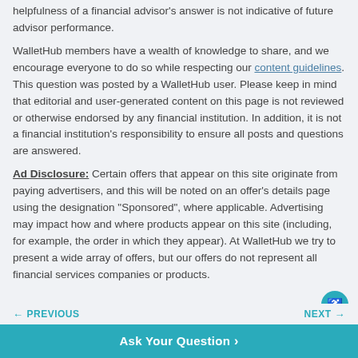helpfulness of a financial advisor's answer is not indicative of future advisor performance.
WalletHub members have a wealth of knowledge to share, and we encourage everyone to do so while respecting our content guidelines. This question was posted by a WalletHub user. Please keep in mind that editorial and user-generated content on this page is not reviewed or otherwise endorsed by any financial institution. In addition, it is not a financial institution's responsibility to ensure all posts and questions are answered.
Ad Disclosure: Certain offers that appear on this site originate from paying advertisers, and this will be noted on an offer's details page using the designation "Sponsored", where applicable. Advertising may impact how and where products appear on this site (including, for example, the order in which they appear). At WalletHub we try to present a wide array of offers, but our offers do not represent all financial services companies or products.
PREVIOUS    NEXT | Ask Your Question ›